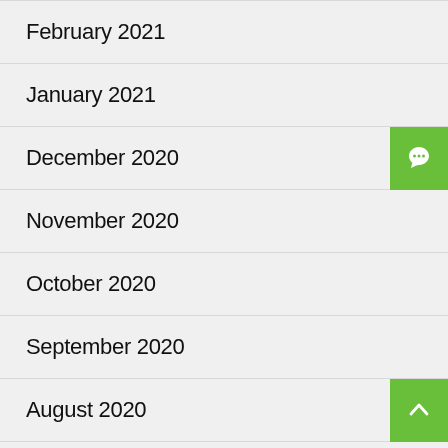February 2021
January 2021
December 2020
November 2020
October 2020
September 2020
August 2020
July 2020